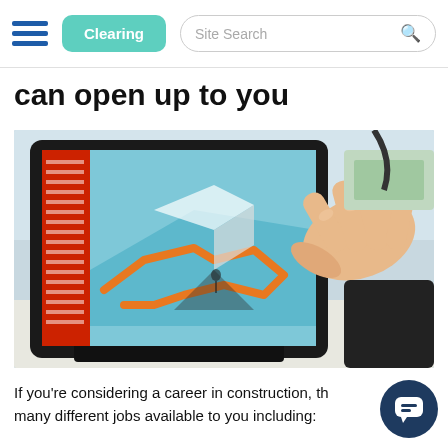Clearing   Site Search
can open up to you
[Figure (photo): A person's hand touching a tablet screen displaying a CAD or architectural design software with colourful 3D shapes, placed on a desk in a technical/engineering setting.]
If you’re considering a career in construction, the many different jobs available to you including: